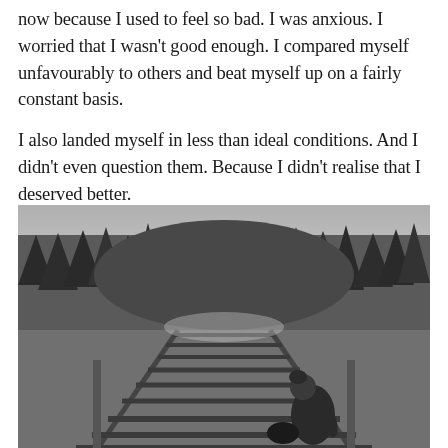now because I used to feel so bad. I was anxious. I worried that I wasn't good enough. I compared myself unfavourably to others and beat myself up on a fairly constant basis.
I also landed myself in less than ideal conditions. And I didn't even question them. Because I didn't realise that I deserved better.
[Figure (photo): Black and white photograph of a person sitting on railway tracks on a wooden trestle bridge, with a dense forest of tall coniferous trees in the background, viewed from behind.]